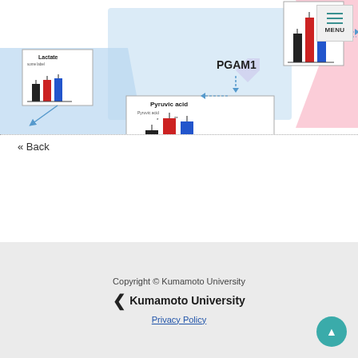[Figure (infographic): Scientific diagram showing metabolic pathway with bar charts for Lactate and Pyruvic acid, PGAM1 enzyme in center, and Serine biosynthesis pathway. Includes bar charts with black, red, and blue bars, N.D. label, and directional arrows on pink and blue background.]
« Back
Copyright © Kumamoto University
Kumamoto University
Privacy Policy